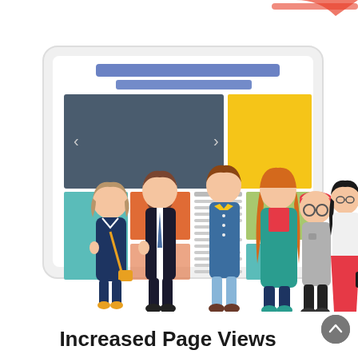[Figure (illustration): A stylized illustration showing a large tablet/monitor screen displaying a webpage layout with a blue nav bar, gray hero banner with left/right arrows, a yellow block, and content blocks. Six cartoon-style diverse people stand in front of the screen.]
Increased Page Views